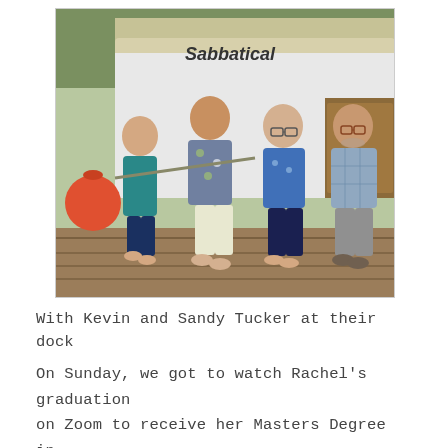[Figure (photo): Four people standing together on a wooden dock in front of a boat named 'Sabbatical'. Two women and two men, smiling. A red buoy is visible on the left side. The boat has a white hull and a canopy.]
With Kevin and Sandy Tucker at their dock
On Sunday, we got to watch Rachel's graduation on Zoom to receive her Masters Degree in